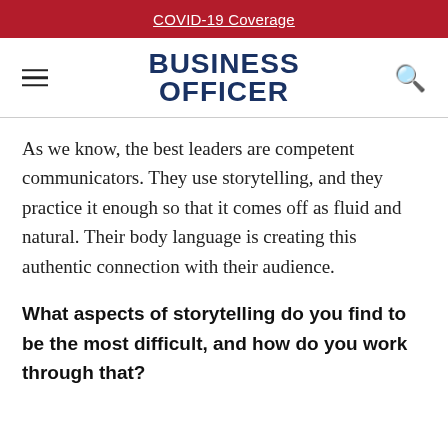COVID-19 Coverage
[Figure (logo): Business Officer magazine logo with hamburger menu icon on left and search icon on right]
As we know, the best leaders are competent communicators. They use storytelling, and they practice it enough so that it comes off as fluid and natural. Their body language is creating this authentic connection with their audience.
What aspects of storytelling do you find to be the most difficult, and how do you work through that?